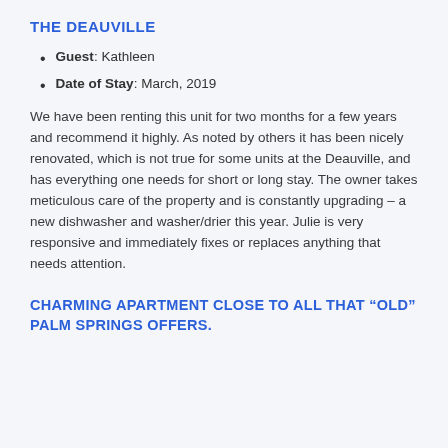THE DEAUVILLE
Guest: Kathleen
Date of Stay: March, 2019
We have been renting this unit for two months for a few years and recommend it highly. As noted by others it has been nicely renovated, which is not true for some units at the Deauville, and has everything one needs for short or long stay. The owner takes meticulous care of the property and is constantly upgrading – a new dishwasher and washer/drier this year. Julie is very responsive and immediately fixes or replaces anything that needs attention.
CHARMING APARTMENT CLOSE TO ALL THAT “OLD” PALM SPRINGS OFFERS.